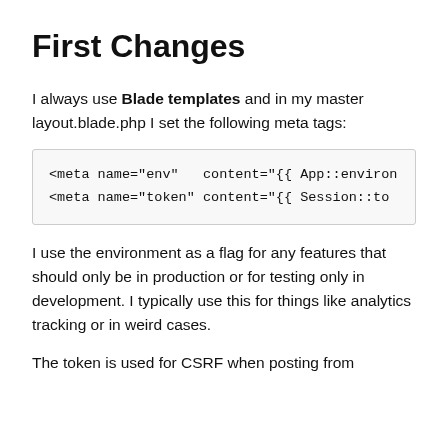First Changes
I always use Blade templates and in my master layout.blade.php I set the following meta tags:
[Figure (screenshot): Code block showing two meta tag lines: <meta name="env" content="{{ App::environ and <meta name="token" content="{{ Session::to]
I use the environment as a flag for any features that should only be in production or for testing only in development. I typically use this for things like analytics tracking or in weird cases.
The token is used for CSRF when posting from